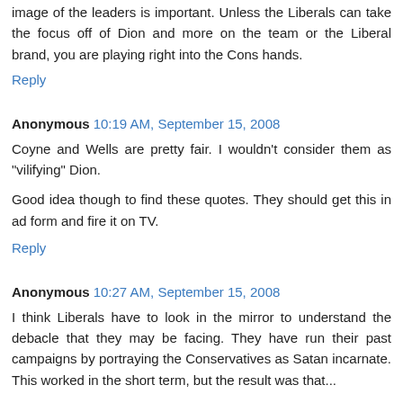image of the leaders is important. Unless the Liberals can take the focus off of Dion and more on the team or the Liberal brand, you are playing right into the Cons hands.
Reply
Anonymous 10:19 AM, September 15, 2008
Coyne and Wells are pretty fair. I wouldn't consider them as "vilifying" Dion.

Good idea though to find these quotes. They should get this in ad form and fire it on TV.
Reply
Anonymous 10:27 AM, September 15, 2008
I think Liberals have to look in the mirror to understand the debacle that they may be facing. They have run their past campaigns by portraying the Conservatives as Satan incarnate. This worked in the short term, but the result was that...